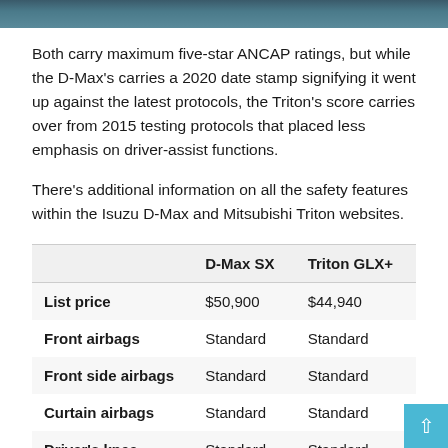[Figure (photo): Top portion of an outdoor photo showing vehicles, cropped at the top of the page]
Both carry maximum five-star ANCAP ratings, but while the D-Max's carries a 2020 date stamp signifying it went up against the latest protocols, the Triton's score carries over from 2015 testing protocols that placed less emphasis on driver-assist functions.
There's additional information on all the safety features within the Isuzu D-Max and Mitsubishi Triton websites.
|  | D-Max SX | Triton GLX+ |
| --- | --- | --- |
| List price | $50,900 | $44,940 |
| Front airbags | Standard | Standard |
| Front side airbags | Standard | Standard |
| Curtain airbags | Standard | Standard |
| Driver's knee | Standard | Standard |